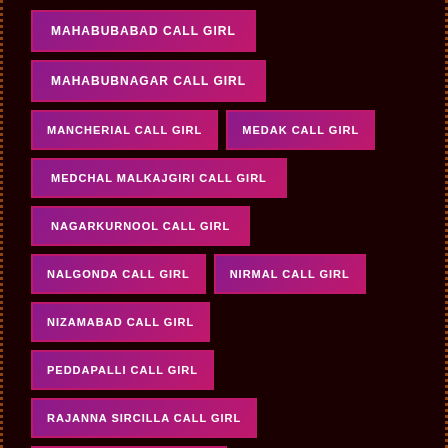MAHABUBABAD CALL GIRL
MAHABUBNAGAR CALL GIRL
MANCHERIAL CALL GIRL
MEDAK CALL GIRL
MEDCHAL MALKAJGIRI CALL GIRL
NAGARKURNOOL CALL GIRL
NALGONDA CALL GIRL
NIRMAL CALL GIRL
NIZAMABAD CALL GIRL
PEDDAPALLI CALL GIRL
RAJANNA SIRCILLA CALL GIRL
RANGA REDDY CALL GIRL